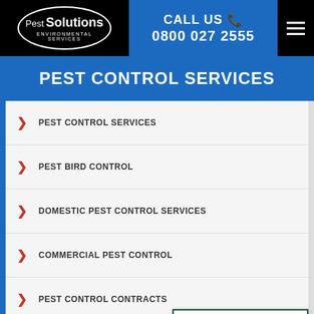[Figure (logo): Pest Solutions Environmental Services logo — white ellipse border on black background]
CALL US 📞
0800 027 2555
PEST CONTROL SERVICES
PEST CONTROL SERVICES
PEST BIRD CONTROL
DOMESTIC PEST CONTROL SERVICES
COMMERCIAL PEST CONTROL
PEST CONTROL CONTRACTS
BOOK A FREE SURVEY
[Figure (logo): National Pest Awards 2021 Winner badge]